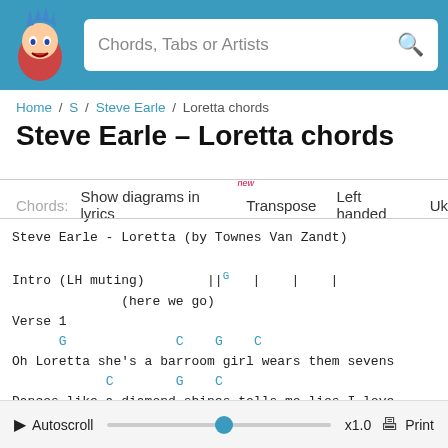Chords, Tabs or Artists
Home / S / Steve Earle / Loretta chords
Steve Earle – Loretta chords
Chords:  Show diagrams in lyrics [new]  Transpose  Left handed  Uk
Steve Earle - Loretta (by Townes Van Zandt)

Intro (LH muting)        ||G  |  |  |
              (here we go)
Verse 1
      G              C    G    C
Oh Loretta she's a barroom girl wears them sevens
            C        G    C
Dances like a diamond shines tells me lies I love
   D                      C                G
Her age is always 22 her laughing eyes a hazel hu
Autoscroll  x1.0  Print